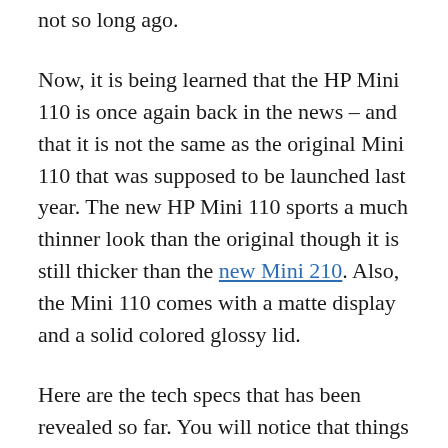not so long ago.
Now, it is being learned that the HP Mini 110 is once again back in the news – and that it is not the same as the original Mini 110 that was supposed to be launched last year. The new HP Mini 110 sports a much thinner look than the original though it is still thicker than the new Mini 210. Also, the Mini 110 comes with a matte display and a solid colored glossy lid.
Here are the tech specs that has been revealed so far. You will notice that things are not very different from the 210. The netbook comes with a 1.66GHz Intel Atom N450 processor that is ably supported by a GMA 3150 graphics chip. The chassis is coming along with an SD 7.1 audio...